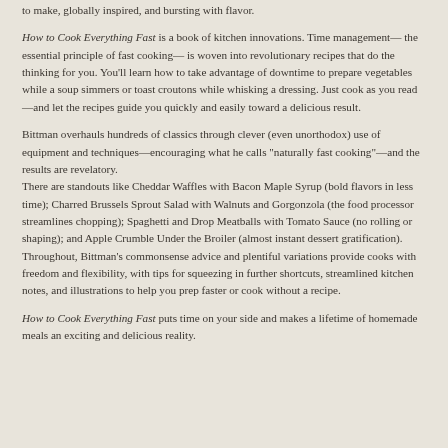to make, globally inspired, and bursting with flavor.
How to Cook Everything Fast is a book of kitchen innovations. Time management— the essential principle of fast cooking— is woven into revolutionary recipes that do the thinking for you. You'll learn how to take advantage of downtime to prepare vegetables while a soup simmers or toast croutons while whisking a dressing. Just cook as you read—and let the recipes guide you quickly and easily toward a delicious result.
Bittman overhauls hundreds of classics through clever (even unorthodox) use of equipment and techniques—encouraging what he calls "naturally fast cooking"—and the results are revelatory. There are standouts like Cheddar Waffles with Bacon Maple Syrup (bold flavors in less time); Charred Brussels Sprout Salad with Walnuts and Gorgonzola (the food processor streamlines chopping); Spaghetti and Drop Meatballs with Tomato Sauce (no rolling or shaping); and Apple Crumble Under the Broiler (almost instant dessert gratification). Throughout, Bittman's commonsense advice and plentiful variations provide cooks with freedom and flexibility, with tips for squeezing in further shortcuts, streamlined kitchen notes, and illustrations to help you prep faster or cook without a recipe.
How to Cook Everything Fast puts time on your side and makes a lifetime of homemade meals an exciting and delicious reality.